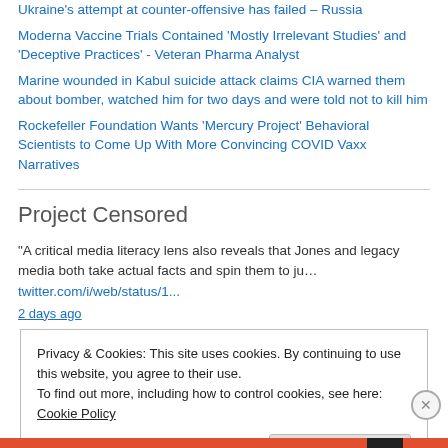Ukraine's attempt at counter-offensive has failed – Russia
Moderna Vaccine Trials Contained 'Mostly Irrelevant Studies' and 'Deceptive Practices' - Veteran Pharma Analyst
Marine wounded in Kabul suicide attack claims CIA warned them about bomber, watched him for two days and were told not to kill him
Rockefeller Foundation Wants 'Mercury Project' Behavioral Scientists to Come Up With More Convincing COVID Vaxx Narratives
Project Censored
"A critical media literacy lens also reveals that Jones and legacy media both take actual facts and spin them to ju… twitter.com/i/web/status/1...
2 days ago
Privacy & Cookies: This site uses cookies. By continuing to use this website, you agree to their use.
To find out more, including how to control cookies, see here: Cookie Policy
Close and accept